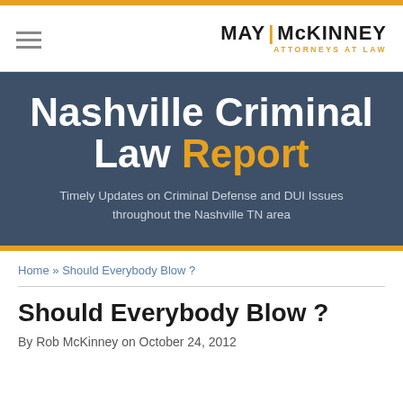MAY | McKINNEY ATTORNEYS AT LAW
[Figure (other): Nashville Criminal Law Report banner with subtitle: Timely Updates on Criminal Defense and DUI Issues throughout the Nashville TN area]
Home » Should Everybody Blow ?
Should Everybody Blow ?
By Rob McKinney on October 24, 2012